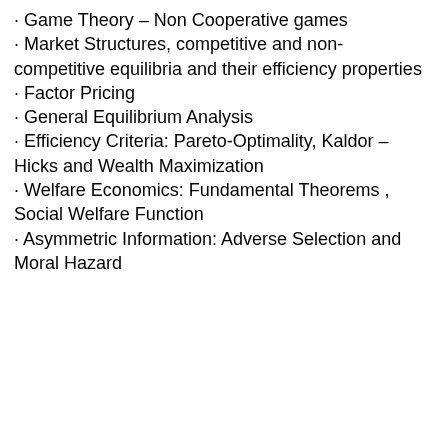· Game Theory – Non Cooperative games
· Market Structures, competitive and non-competitive equilibria and their efficiency properties
· Factor Pricing
· General Equilibrium Analysis
· Efficiency Criteria: Pareto-Optimality, Kaldor – Hicks and Wealth Maximization
· Welfare Economics: Fundamental Theorems , Social Welfare Function
· Asymmetric Information: Adverse Selection and Moral Hazard